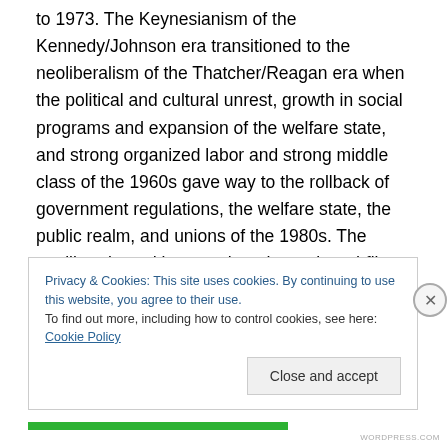to 1973. The Keynesianism of the Kennedy/Johnson era transitioned to the neoliberalism of the Thatcher/Reagan era when the political and cultural unrest, growth in social programs and expansion of the welfare state, and strong organized labor and strong middle class of the 1960s gave way to the rollback of government regulations, the welfare state, the public realm, and unions of the 1980s. The neoliberal trend began when the rank-and-file labor rebellions and wildcat strikes of the 1970s were routed, then was formalized with the defeat of organized labor by Reagan's breaking the PATCO unions and Thatcher's
Privacy & Cookies: This site uses cookies. By continuing to use this website, you agree to their use.
To find out more, including how to control cookies, see here: Cookie Policy
Close and accept